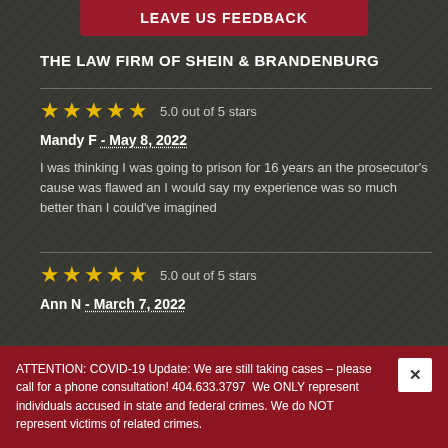LEAVE US FEEDBACK
THE LAW FIRM OF SHEIN & BRANDENBURG
5.0 out of 5 stars
Mandy F - May 8, 2022
I was thinking I was going to prison for 16 years an the prosecutor's cause was flawed an I would say my experience was so much better than I could've imagined
5.0 out of 5 stars
Ann N - March 7, 2022
ATTENTION: COVID-19 Update: We are still taking cases – please call for a phone consultation! 404.633.3797  We ONLY represent individuals accused in state and federal crimes. We do NOT represent victims of related crimes.